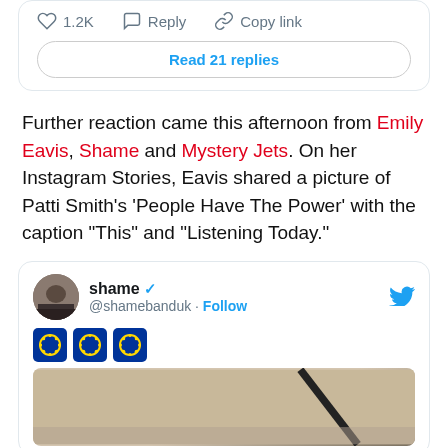[Figure (screenshot): Top of a tweet card showing action bar with heart icon 1.2K, Reply, Copy link, and a 'Read 21 replies' button]
Further reaction came this afternoon from Emily Eavis, Shame and Mystery Jets. On her Instagram Stories, Eavis shared a picture of Patti Smith's 'People Have The Power' with the caption "This" and "Listening Today."
[Figure (screenshot): Tweet card from @shamebanduk (shame, verified) with Follow button, three EU flag emojis, and a photo of a ceiling/interior space]